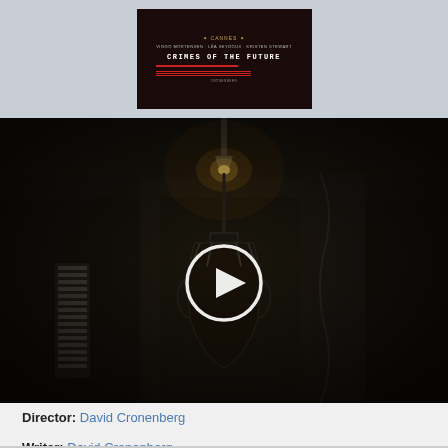[Figure (photo): Movie poster for 'Crimes of the Future' showing dark red/black tones with Cannes film festival logo, actor names (Viggo Mortensen, Léa Seydoux, Kristen Stewart), and the film title in white monospace text]
[Figure (screenshot): Video thumbnail/player showing a dark cinematic scene from 'Crimes of the Future' with a dim lamp hanging from ceiling, dark atmospheric corridor, hanging mechanical object, and a white circular play button overlay in the center]
Director: David Cronenberg
Writer: David Cronenberg
Stars: Viggo Mortensen, Léa Seydoux, Kristen Stewart
Summary: